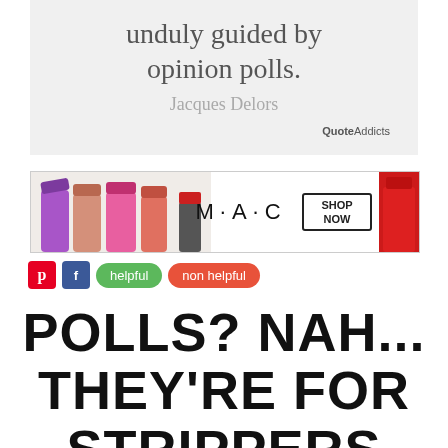unduly guided by opinion polls.
Jacques Delors
QuoteAddicts
[Figure (photo): MAC cosmetics advertisement banner showing colorful lipsticks on left, MAC logo, a SHOP NOW button, and a red lipstick on the right]
helpful   non helpful
POLLS? NAH... THEY'RE FOR STRIPPERS AND